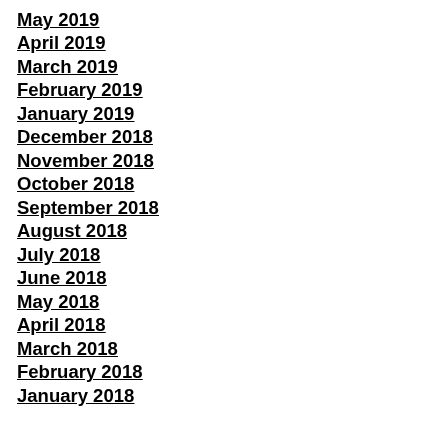May 2019
April 2019
March 2019
February 2019
January 2019
December 2018
November 2018
October 2018
September 2018
August 2018
July 2018
June 2018
May 2018
April 2018
March 2018
February 2018
January 2018